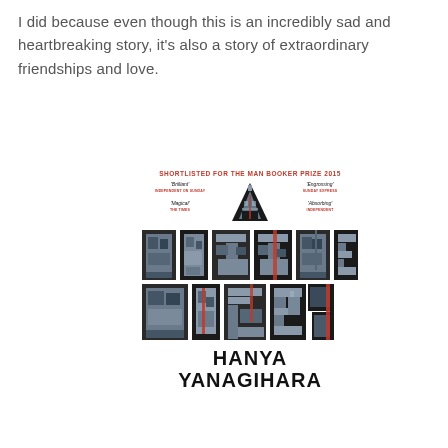I did because even though this is an incredibly sad and heartbreaking story, it's also a story of extraordinary friendships and love.
[Figure (illustration): Book cover of 'A Little Life' by Hanya Yanagihara. Shortlisted for the Man Booker Prize 2015. Cover shows large bold letters spelling 'A LITTLE LIFE' with photographic images of buildings visible through the letterforms. Blurbs: 'Brilliant' Independent on Sunday, 'Magical' The Times, 'Engrossing' Sunday Express, 'Absorbing' Independent. Author name 'HANYA YANAGIHARA' in large bold black text at bottom.]